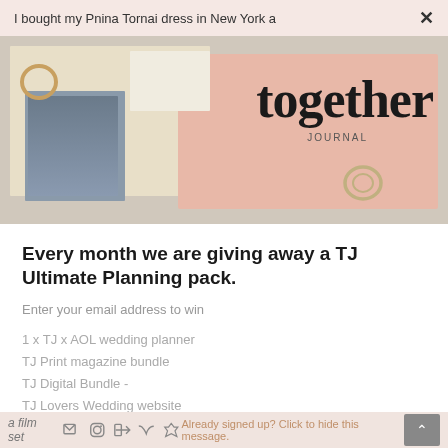I bought my Pnina Tornai dress in New York a  ×
[Figure (photo): Magazine spread flatlay photo showing 'together JOURNAL' pink cover magazine, cream-colored open magazines, a small portrait photo, and rings on a textured beige background.]
Every month we are giving away a TJ Ultimate Planning pack.
Enter your email address to win
1 x TJ x AOL wedding planner
TJ Print magazine bundle
TJ Digital Bundle -
TJ Lovers Wedding website
Total value $454
a film set  Already signed up? Click to hide this message.